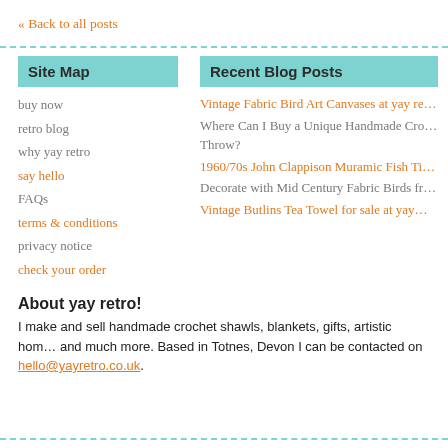« Back to all posts
Site Map
Recent Blog Posts
buy now
retro blog
why yay retro
say hello
FAQs
terms & conditions
privacy notice
check your order
Vintage Fabric Bird Art Canvases at yay ret…
Where Can I Buy a Unique Handmade Croc… Throw?
1960/70s John Clappison Muramic Fish Ti…
Decorate with Mid Century Fabric Birds fro…
Vintage Butlins Tea Towel for sale at yay…
About yay retro!
I make and sell handmade crochet shawls, blankets, gifts, artistic hom… and much more. Based in Totnes, Devon I can be contacted on hello@yayretro.co.uk.